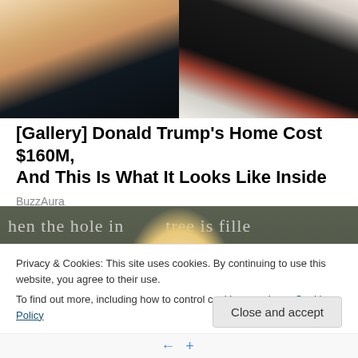[Figure (photo): Photo of a blonde woman and a man in a dark suit with a red tie, cropped from chest up]
[Gallery] Donald Trump's Home Cost $160M, And This Is What It Looks Like Inside
BuzzAura
[Figure (photo): Photo of a blonde woman in front of a chalkboard with text: 'hen the hole in tree is fille' and 'Jems parents']
Privacy & Cookies: This site uses cookies. By continuing to use this website, you agree to their use.
To find out more, including how to control cookies, see here: Cookie Policy
Close and accept